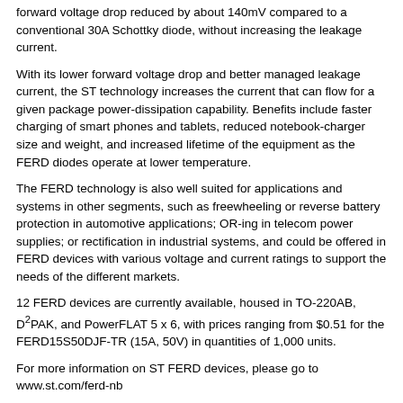forward voltage drop reduced by about 140mV compared to a conventional 30A Schottky diode, without increasing the leakage current.
With its lower forward voltage drop and better managed leakage current, the ST technology increases the current that can flow for a given package power-dissipation capability. Benefits include faster charging of smart phones and tablets, reduced notebook-charger size and weight, and increased lifetime of the equipment as the FERD diodes operate at lower temperature.
The FERD technology is also well suited for applications and systems in other segments, such as freewheeling or reverse battery protection in automotive applications; OR-ing in telecom power supplies; or rectification in industrial systems, and could be offered in FERD devices with various voltage and current ratings to support the needs of the different markets.
12 FERD devices are currently available, housed in TO-220AB, D²PAK, and PowerFLAT 5 x 6, with prices ranging from $0.51 for the FERD15S50DJF-TR (15A, 50V) in quantities of 1,000 units.
For more information on ST FERD devices, please go to www.st.com/ferd-nb
News Source: st.com